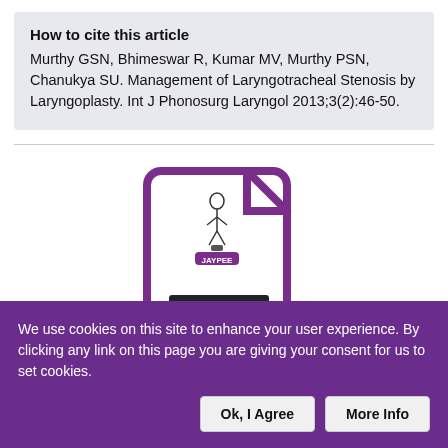How to cite this article
Murthy GSN, Bhimeswar R, Kumar MV, Murthy PSN, Chanukya SU. Management of Laryngotracheal Stenosis by Laryngoplasty. Int J Phonosurg Laryngol 2013;3(2):46-50.
[Figure (logo): Jaypee publishers document icon — a white document outline with rounded corners and a folded top-right corner in purple, containing a small Jaypee logo illustration and two dark horizontal bars representing text lines.]
We use cookies on this site to enhance your user experience. By clicking any link on this page you are giving your consent for us to set cookies.